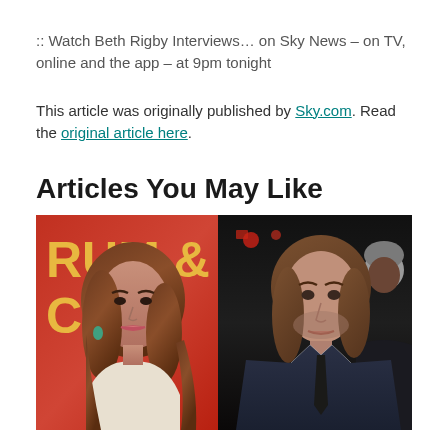:: Watch Beth Rigby Interviews… on Sky News – on TV, online and the app – at 9pm tonight
This article was originally published by Sky.com. Read the original article here.
Articles You May Like
[Figure (photo): A woman with long brown hair wearing a light-colored outfit (left) and a man with medium-length brown hair wearing a dark suit with a tie (right), photographed at what appears to be an event with a red 'RUM & CO' banner visible in the background.]